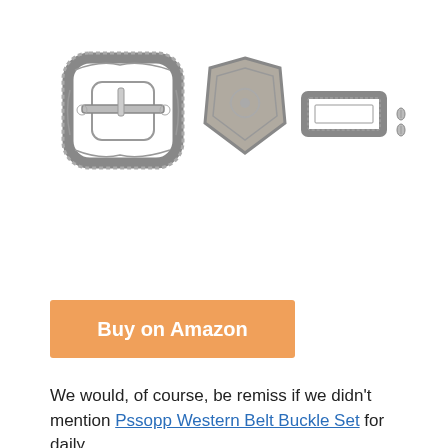[Figure (photo): Western belt buckle set components on white background: decorative engraved buckle frame, engraved belt tip/keeper, rectangular plain loop/keeper, and two small screws/studs. All pieces are silver/antique metal colored.]
Buy on Amazon
We would, of course, be remiss if we didn't mention Pssopp Western Belt Buckle Set for daily